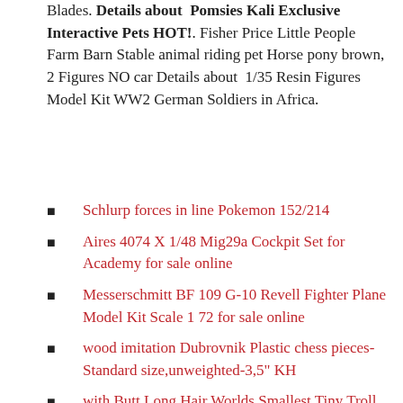Blades. Details about Pomsies Kali Exclusive Interactive Pets HOT!. Fisher Price Little People Farm Barn Stable animal riding pet Horse pony brown, 2 Figures NO car Details about 1/35 Resin Figures Model Kit WW2 German Soldiers in Africa.
Schlurp forces in line Pokemon 152/214
Aires 4074 X 1/48 Mig29a Cockpit Set for Academy for sale online
Messerschmitt BF 109 G-10 Revell Fighter Plane Model Kit Scale 1 72 for sale online
wood imitation Dubrovnik Plastic chess pieces-Standard size,unweighted-3,5" KH
with Butt Long Hair Worlds Smallest Tiny Troll Miniature Doll Yellow